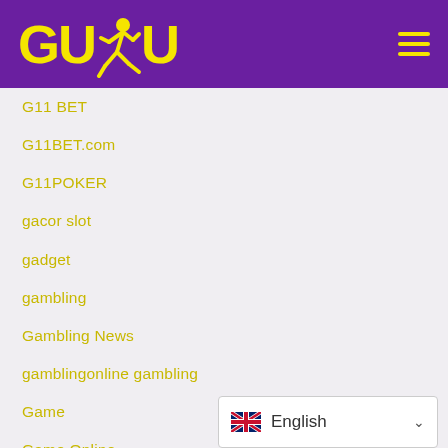[Figure (logo): GUDU logo with yellow text and runner icon on purple background, hamburger menu icon on the right]
G11 BET
G11BET.com
G11POKER
gacor slot
gadget
gambling
Gambling News
gamblingonline gambling
Game
Game Online
game online terbaik
game slot online
[Figure (other): Language selector showing UK flag and English with dropdown chevron]